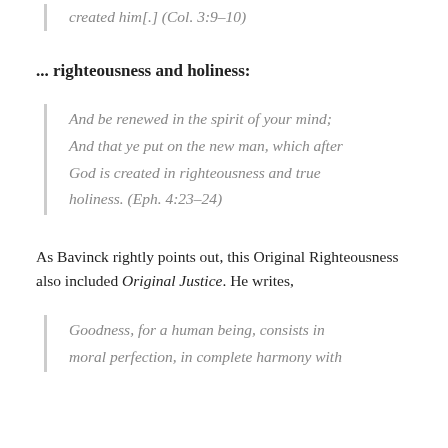created him[.] (Col. 3:9–10)
... righteousness and holiness:
And be renewed in the spirit of your mind; And that ye put on the new man, which after God is created in righteousness and true holiness. (Eph. 4:23–24)
As Bavinck rightly points out, this Original Righteousness also included Original Justice. He writes,
Goodness, for a human being, consists in moral perfection, in complete harmony with